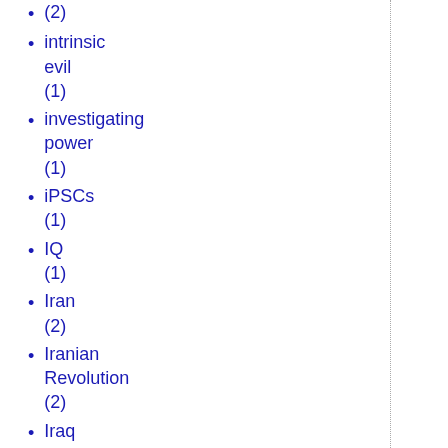(2)
intrinsic evil (1)
investigating power (1)
iPSCs (1)
IQ (1)
Iran (2)
Iranian Revolution (2)
Iraq (10)
Ireland (8)
Irish Referendum (1)
Irish Rejection